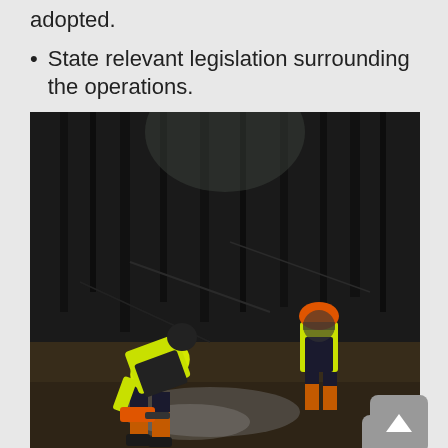adopted.
State relevant legislation surrounding the operations.
[Figure (photo): Two forestry workers in high-visibility vests and orange safety helmets working in a dark forest. One worker is bending over holding a chainsaw, operating near the forest floor among tall conifer trees.]